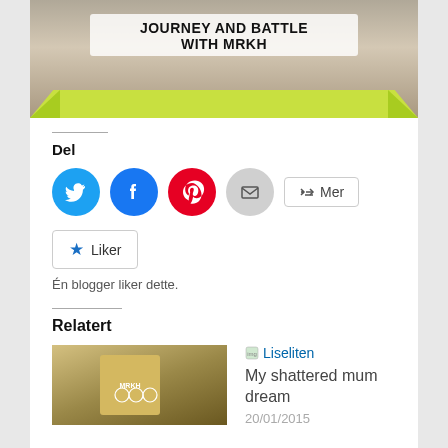[Figure (photo): Banner image with photo background showing text 'JOURNEY AND BATTLE WITH MRKH' in a white box, with green/lime colored triangular corners at the bottom]
Del
[Figure (infographic): Social share buttons: Twitter (blue circle), Facebook (blue circle), Pinterest (red circle), Email (gray circle), and Mer (more) button]
[Figure (infographic): Liker button with star icon]
Én blogger liker dette.
Relatert
[Figure (photo): Book/item photo with decorative design]
Liseliten
My shattered mum dream
20/01/2015